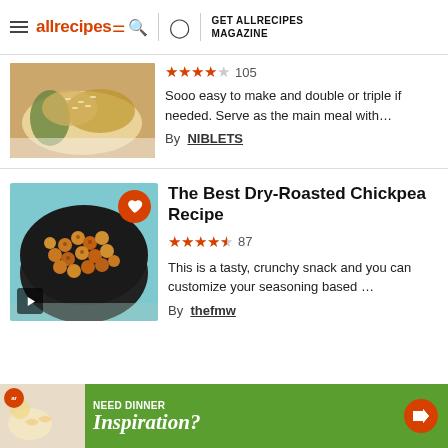allrecipes | GET ALLRECIPES MAGAZINE
[Figure (photo): Food photo showing a rice dish with vegetables on a white plate]
Sooo easy to make and double or triple if needed. Serve as the main meal with…
By NIBLETS
The Best Dry-Roasted Chickpea Recipe
[Figure (photo): Photo of dry-roasted chickpeas in a dark bowl on a blue background, with a heart favorite button and a video play button]
This is a tasty, crunchy snack and you can customize your seasoning based …
By thefmw
[Figure (infographic): Green advertisement banner reading NEED DINNER Inspiration? with arrow button and food image]